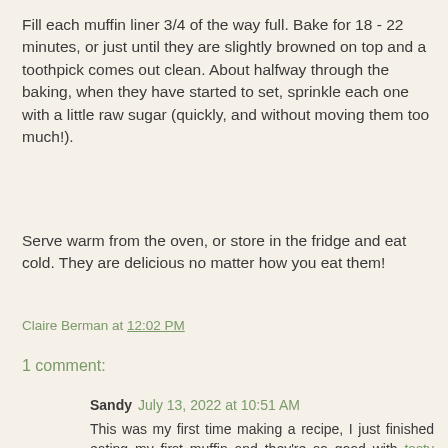Fill each muffin liner 3/4 of the way full. Bake for 18 - 22 minutes, or just until they are slightly browned on top and a toothpick comes out clean. About halfway through the baking, when they have started to set, sprinkle each one with a little raw sugar (quickly, and without moving them too much!).
Serve warm from the oven, or store in the fridge and eat cold. They are delicious no matter how you eat them!
Claire Berman at 12:02 PM
1 comment:
Sandy July 13, 2022 at 10:51 AM
This was my first time making a recipe, I just finished eating my first muffin and they're so good with tasty bread! I'm going to a family reunion next month and I plan to make this recipe for everyone there, it's gonna be awesome!